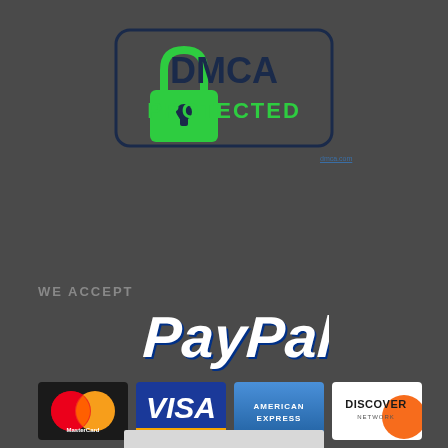[Figure (logo): DMCA Protected badge with green padlock icon and dark blue text reading DMCA PROTECTED on dark rounded rectangle border]
WE ACCEPT
[Figure (logo): PayPal logo in white italic bold text with blue outline/shadow]
[Figure (logo): Four payment card logos: MasterCard (red and yellow circles), VISA (blue background yellow text), American Express (blue gradient), Discover (white with orange swirl)]
[Figure (other): White/light gray bar at bottom of page, partially visible]